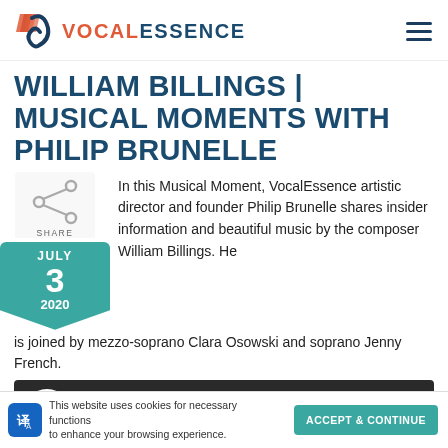VocalEssence
WILLIAM BILLINGS | MUSICAL MOMENTS WITH PHILIP BRUNELLE
[Figure (logo): VocalEssence logo with share icon and date badge: JULY 3 2020]
In this Musical Moment, VocalEssence artistic director and founder Philip Brunelle shares insider information and beautiful music by the composer William Billings. He is joined by mezzo-soprano Clara Osowski and soprano Jenny French.
[Figure (screenshot): Video thumbnail showing William Billings | Musical Moment title card with VocalEssence logo]
This website uses cookies for necessary functions to enhance your browsing experience.